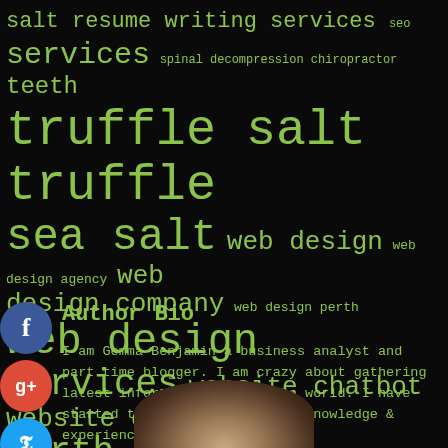[Figure (infographic): Tag cloud on dark background showing SEO and web-related keywords in green monospace font at varying sizes. Keywords include: salt, resume writing services, seo, services, spinal decompression chiropractor, teeth, truffle salt truffle, sea salt, web design, web design agency, web design company, web design perth, web design services, website chatbot, website design perth, website developers perth.]
Author Bio
I am Gemma Benjamin a business analyst and part time blogger. I am crazy about gathering latest information around the world. I have started this blog to share my knowledge & experience.
[Figure (photo): Partial photo of a blonde woman, cropped at the bottom of the page showing only the top of the head.]